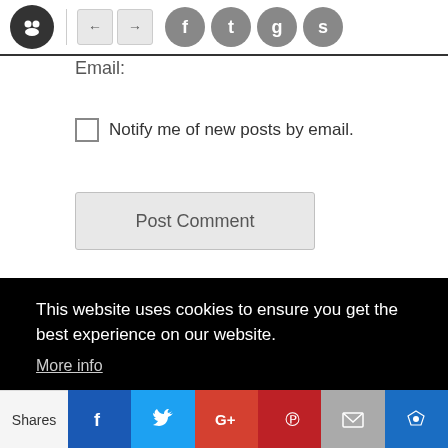Website header with logo, navigation arrows, and social icons (Facebook, Twitter, Google+, StumbleUpon)
Email:
Notify me of new posts by email.
Post Comment
This website uses cookies to ensure you get the best experience on our website. More info
Got it!
Shares